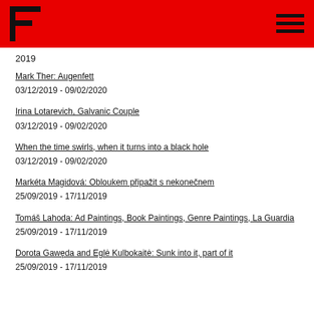F (logo) — navigation header, red background
2019
Mark Ther: Augenfett
03/12/2019 - 09/02/2020
Irina Lotarevich, Galvanic Couple
03/12/2019 - 09/02/2020
When the time swirls, when it turns into a black hole
03/12/2019 - 09/02/2020
Markéta Magidová: Obloukem připažit s nekonečnem
25/09/2019 - 17/11/2019
Tomáš Lahoda: Ad Paintings, Book Paintings, Genre Paintings, La Guardia
25/09/2019 - 17/11/2019
Dorota Gawęda and Eglė Kulbokaitė: Sunk into it, part of it
25/09/2019 - 17/11/2019